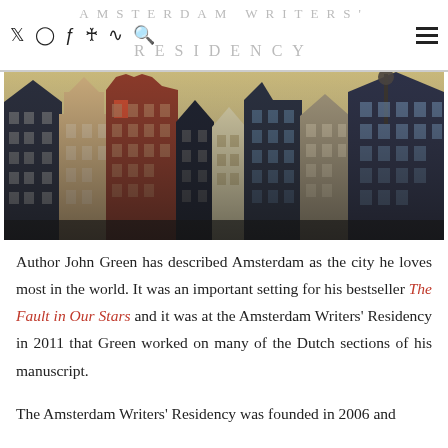AMSTERDAM WRITERS RESIDENCY
[Figure (photo): Row of traditional Amsterdam canal houses with ornate stepped gable facades in brick, photographed with warm vintage tones]
Author John Green has described Amsterdam as the city he loves most in the world. It was an important setting for his bestseller The Fault in Our Stars and it was at the Amsterdam Writers' Residency in 2011 that Green worked on many of the Dutch sections of his manuscript.
The Amsterdam Writers' Residency was founded in 2006 and